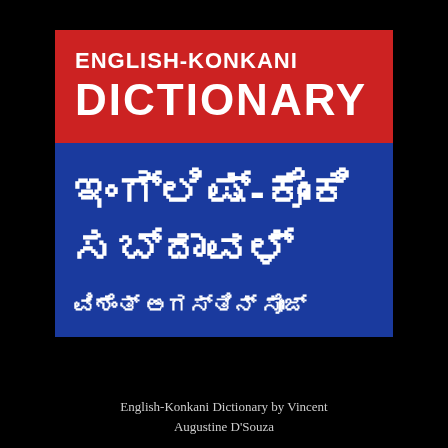ENGLISH-KONKANI DICTIONARY
ಇಂಗ್ಲಿಷ್-ಕೊಂಕಿ ಸಬ್ದಾವಳ್
ವಿಶೆಂತ್ ಅಗಸ್ತಿನ್ ಸೋಜ್
English-Konkani Dictionary by Vincent Augustine D'Souza